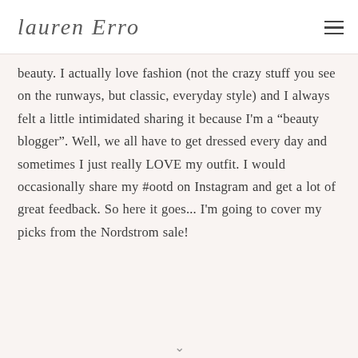lauren Erro
beauty. I actually love fashion (not the crazy stuff you see on the runways, but classic, everyday style) and I always felt a little intimidated sharing it because I'm a “beauty blogger”. Well, we all have to get dressed every day and sometimes I just really LOVE my outfit. I would occasionally share my #ootd on Instagram and get a lot of great feedback. So here it goes... I'm going to cover my picks from the Nordstrom sale!